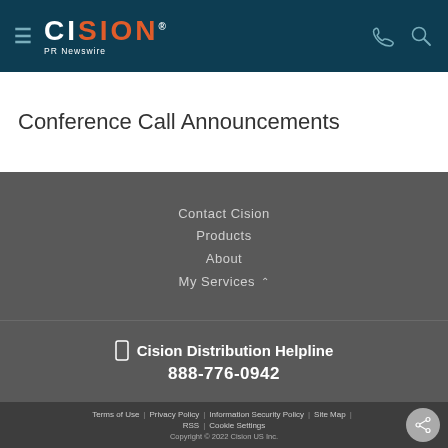CISION PR Newswire
Conference Call Announcements
Contact Cision
Products
About
My Services
Cision Distribution Helpline 888-776-0942
Terms of Use | Privacy Policy | Information Security Policy | Site Map | RSS | Cookie Settings
Copyright © 2022 Cision US Inc.